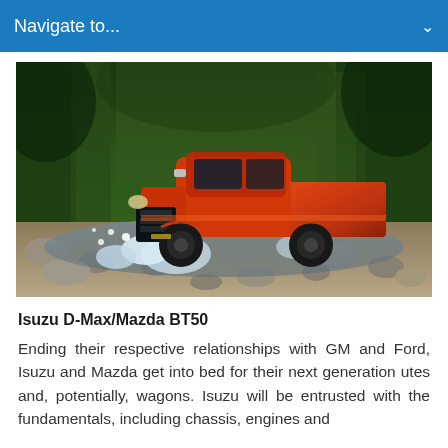Navigate to...
[Figure (photo): An orange Isuzu D-Max pickup truck driving through a rocky shallow stream in a forest/jungle setting, splashing water dramatically.]
Isuzu D-Max/Mazda BT50
Ending their respective relationships with GM and Ford, Isuzu and Mazda get into bed for their next generation utes and, potentially, wagons. Isuzu will be entrusted with the fundamentals, including chassis, engines and